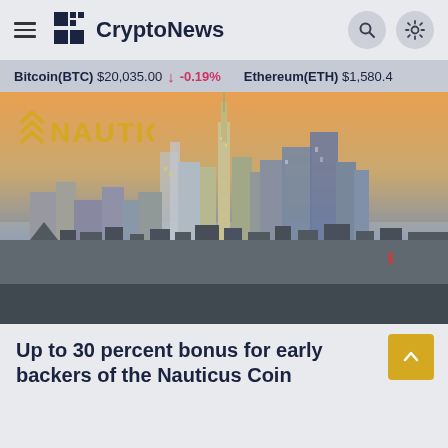CryptoNews
Bitcoin(BTC) $20,035.00 ↓ -0.19%   Ethereum(ETH) $1,580.4
[Figure (photo): Aerial cityscape photo of New York City skyline at sunset with the Nauticus logo overlaid in the top-left corner]
Up to 30 percent bonus for early backers of the Nauticus Coin